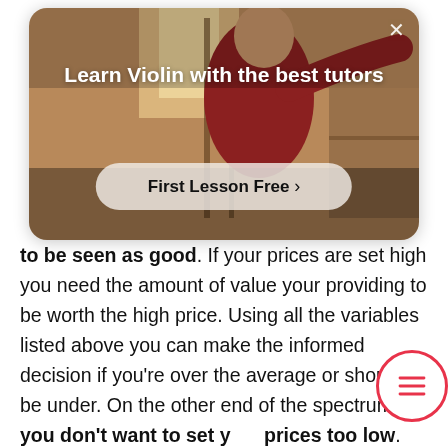[Figure (photo): Advertisement overlay showing a person playing violin. White close (×) button in top-right corner. Text: 'Learn Violin with the best tutors' in bold white. A rounded pill button reading 'First Lesson Free ›' in dark text on semi-transparent white background.]
to be seen as good. If your prices are set high you need the amount of value your providing to be worth the high price. Using all the variables listed above you can make the informed decision if you're over the average or should be under. On the other end of the spectrum, you don't want to set your prices too low. This could come off as questionable to your clients. Your clients can ask